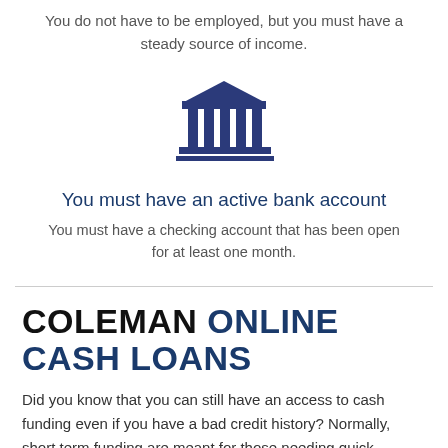You do not have to be employed, but you must have a steady source of income.
[Figure (illustration): Dark blue bank/institution building icon with columns and triangular roof]
You must have an active bank account
You must have a checking account that has been open for at least one month.
COLEMAN ONLINE CASH LOANS
Did you know that you can still have an access to cash funding even if you have a bad credit history? Normally, short term funding are meant for those needing quick emergency fast